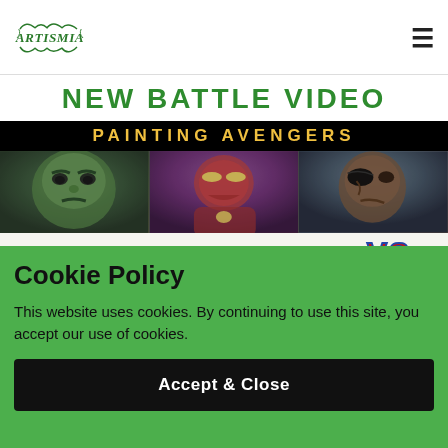[Figure (logo): Artismia logo with decorative green serif text and ornamental design]
NEW BATTLE VIDEO
[Figure (screenshot): Video thumbnail showing Painting Avengers - Hulk, Iron Man, Nick Fury characters with Apple Pencil vs text]
Cookie Policy
This website uses cookies. By continuing to use this site, you accept our use of cookies.
Accept & Close